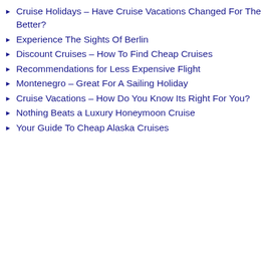Cruise Holidays – Have Cruise Vacations Changed For The Better?
Experience The Sights Of Berlin
Discount Cruises – How To Find Cheap Cruises
Recommendations for Less Expensive Flight
Montenegro – Great For A Sailing Holiday
Cruise Vacations – How Do You Know Its Right For You?
Nothing Beats a Luxury Honeymoon Cruise
Your Guide To Cheap Alaska Cruises